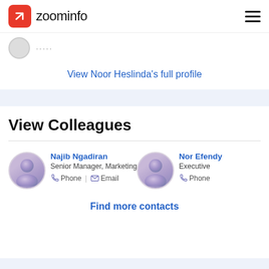zoominfo
View Noor Heslinda's full profile
View Colleagues
Najib Ngadiran
Senior Manager, Marketing
Phone | Email
Nor Efendy
Executive
Phone
Find more contacts